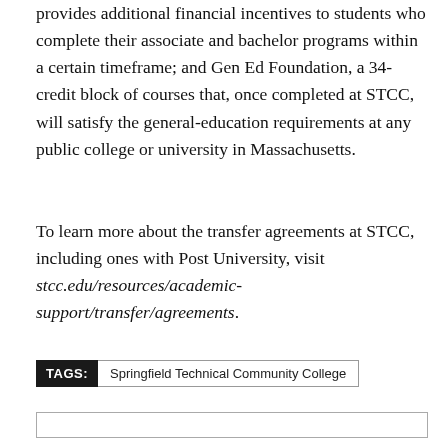provides additional financial incentives to students who complete their associate and bachelor programs within a certain timeframe; and Gen Ed Foundation, a 34-credit block of courses that, once completed at STCC, will satisfy the general-education requirements at any public college or university in Massachusetts.
To learn more about the transfer agreements at STCC, including ones with Post University, visit stcc.edu/resources/academic-support/transfer/agreements.
TAGS: Springfield Technical Community College